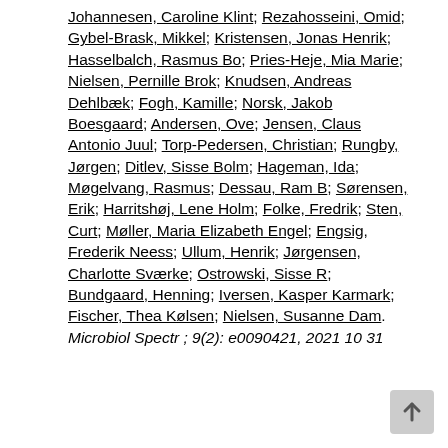Johannesen, Caroline Klint; Rezahosseini, Omid; Gybel-Brask, Mikkel; Kristensen, Jonas Henrik; Hasselbalch, Rasmus Bo; Pries-Heje, Mia Marie; Nielsen, Pernille Brok; Knudsen, Andreas Dehlbæk; Fogh, Kamille; Norsk, Jakob Boesgaard; Andersen, Ove; Jensen, Claus Antonio Juul; Torp-Pedersen, Christian; Rungby, Jørgen; Ditlev, Sisse Bolm; Hageman, Ida; Møgelvang, Rasmus; Dessau, Ram B; Sørensen, Erik; Harritshøj, Lene Holm; Folke, Fredrik; Sten, Curt; Møller, Maria Elizabeth Engel; Engsig, Frederik Neess; Ullum, Henrik; Jørgensen, Charlotte Sværke; Ostrowski, Sisse R; Bundgaard, Henning; Iversen, Kasper Karmark; Fischer, Thea Kølsen; Nielsen, Susanne Dam. Microbiol Spectr ; 9(2): e0090421, 2021 10 31